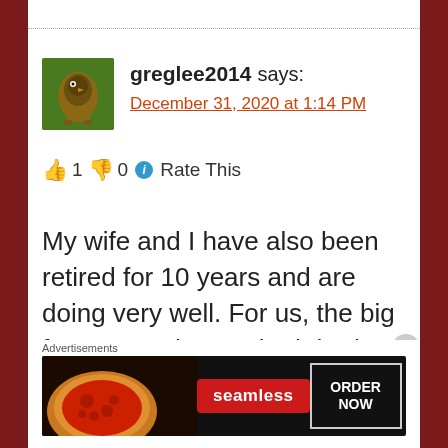greglee2014 says:
December 31, 2020 at 1:14 PM
👍 1 👎 0 ℹ Rate This
My wife and I have also been retired for 10 years and are doing very well. For us, the big factor was that we both had similar working
[Figure (screenshot): Advertisement banner for Seamless food delivery showing pizza image, Seamless logo in red, and ORDER NOW button]
Advertisements